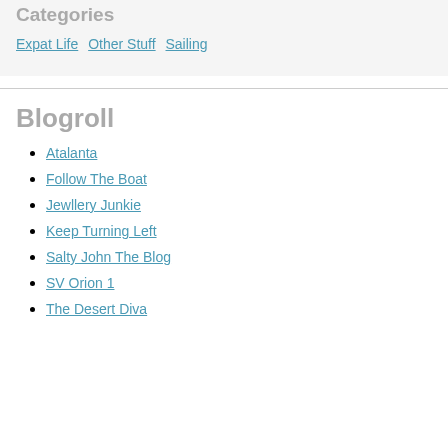Categories
Expat Life  Other Stuff  Sailing
Blogroll
Atalanta
Follow The Boat
Jewllery Junkie
Keep Turning Left
Salty John The Blog
SV Orion 1
The Desert Diva